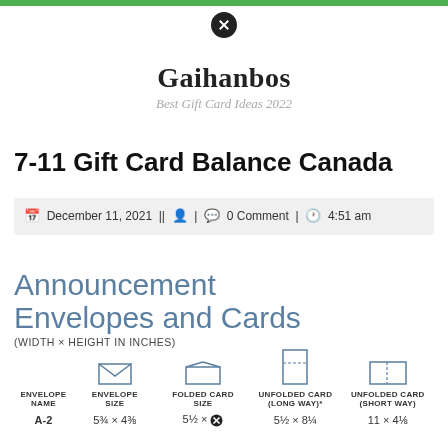Gaihanbos — Best Gift Card Ideas 2022
7-11 Gift Card Balance Canada
December 11, 2021 || [user icon] | [comment icon] 0 Comment | [clock icon] 4:51 am
[Figure (infographic): Announcement Envelopes and Cards infographic showing envelope and card size types with icons: Envelope Name, Envelope Size, Folded Card Size, Unfolded Card (Long Way)*, Unfolded Card (Short Way). Row: A-2, 5¾ × 4⅜, 5½ × [icon], 5½ × 8¼, 11 × 4⅛. Width × Height in Inches.]